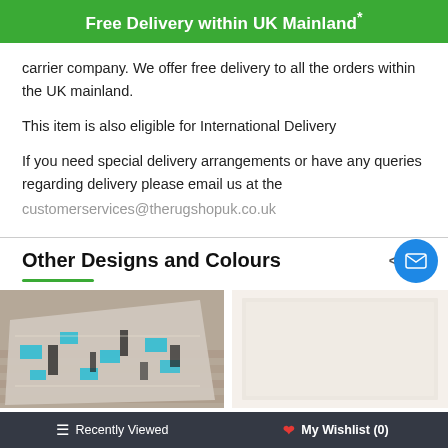Free Delivery within UK Mainland*
carrier company. We offer free delivery to all the orders within the UK mainland.
This item is also eligible for International Delivery
If you need special delivery arrangements or have any queries regarding delivery please email us at the
customerservices@therugshopuk.co.uk
Other Designs and Colours
[Figure (photo): Photo of a rug with teal and black geometric/modern pattern on a wooden floor]
[Figure (photo): Photo of a light cream/beige rug, mostly plain]
≡ Recently Viewed   ♥ My Wishlist (0)